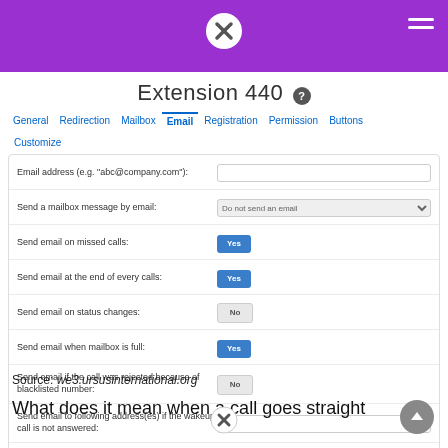Extension 440 - Email settings header bar
Extension 440
General | Redirection | Mailbox | Email | Registration | Permission | Buttons | Customize
| Field | Value |
| --- | --- |
| Email address (e.g. "abc@company.com"): |  |
| Send a mailbox message by email: | Do not send an email |
| Send email on missed calls: | Yes |
| Send email at the end of every calls: | Yes |
| Send email on status changes: | No |
| Send email when mailbox is full: | Yes |
| Send email if the call was rejected because of blacklisted number: | No |
| Send email to following address(es) if the wakeup call is not answered: |  |
|  |  |
Save
Source: we3.ursusinternational.org
What does it mean when a call goes straight